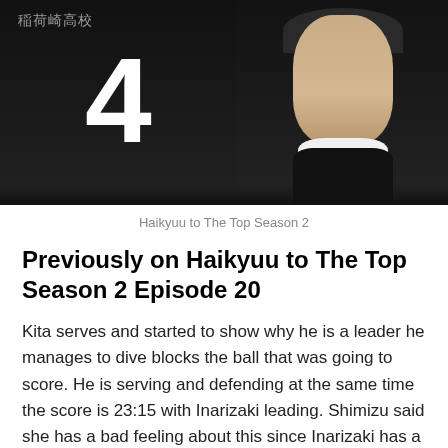[Figure (photo): Anime screenshot from Haikyuu to The Top Season 2 showing two volleyball players in dark jerseys. Left player wearing jersey number 4. Japanese kanji text visible in top left corner reading 稲荷崎高校.]
Haikyuu to The Top Season 2
Previously on Haikyuu to The Top Season 2 Episode 20
Kita serves and started to show why he is a leader he manages to dive blocks the ball that was going to score. He is serving and defending at the same time the score is 23:15 with Inarizaki leading. Shimizu said she has a bad feeling about this since Inarizaki has a breakpoint that would hurt Karasuno. Inarizaki's coach Norimune Kurosu prase Kita that guys like him show up every time in a while. Guys like him are definitely not the star but their presence takes over the whole court.